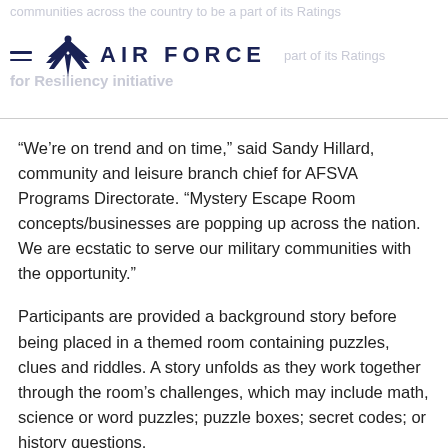AIR FORCE
“We’re on trend and on time,” said Sandy Hillard, community and leisure branch chief for AFSVA Programs Directorate. “Mystery Escape Room concepts/businesses are popping up across the nation. We are ecstatic to serve our military communities with the opportunity.”
Participants are provided a background story before being placed in a themed room containing puzzles, clues and riddles. A story unfolds as they work together through the room’s challenges, which may include math, science or word puzzles; puzzle boxes; secret codes; or history questions.
AFSVA contracted with Mystery Escape Room LLC, a family-owned business based in Salt Lake City, to provide